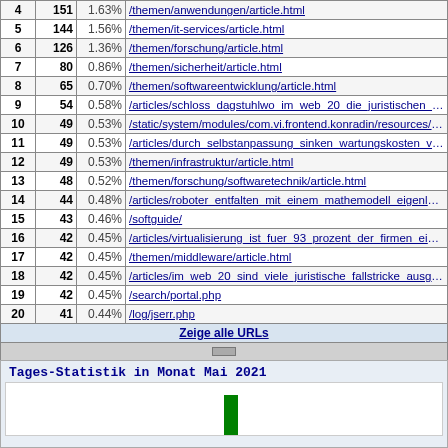| # | Visits | % | URL |
| --- | --- | --- | --- |
| 4 | 151 | 1.63% | /themen/anwendungen/article.html |
| 5 | 144 | 1.56% | /themen/it-services/article.html |
| 6 | 126 | 1.36% | /themen/forschung/article.html |
| 7 | 80 | 0.86% | /themen/sicherheit/article.html |
| 8 | 65 | 0.70% | /themen/softwareentwicklung/article.html |
| 9 | 54 | 0.58% | /articles/schloss dagstuhlwo im web 20 die juristischen fallstric… |
| 10 | 49 | 0.53% | /static/system/modules/com.vi.frontend.konradin/resources/img/1.g… |
| 11 | 49 | 0.53% | /articles/durch selbstanpassung sinken wartungskosten von softw… |
| 12 | 49 | 0.53% | /themen/infrastruktur/article.html |
| 13 | 48 | 0.52% | /themen/forschung/softwaretechnik/article.html |
| 14 | 44 | 0.48% | /articles/roboter entfalten mit einem mathemodell eigenleben:/20… |
| 15 | 43 | 0.46% | /softguide/ |
| 16 | 42 | 0.45% | /articles/virtualisierung ist fuer 93 prozent der firmen ein them… |
| 17 | 42 | 0.45% | /themen/middleware/article.html |
| 18 | 42 | 0.45% | /articles/im web 20 sind viele juristische fallstricke ausgelegt:/2… |
| 19 | 42 | 0.45% | /search/portal.php |
| 20 | 41 | 0.44% | /log/jserr.php |
Zeige alle URLs
Tages-Statistik in Monat Mai 2021
[Figure (bar-chart): Tages-Statistik bar chart for Mai 2021, partially visible at bottom of page]